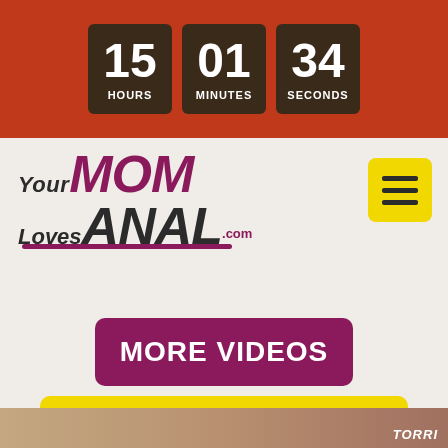15 HOURS 01 MINUTES 34 SECONDS
[Figure (logo): YourMomLovesAnal.com website logo with stylized text]
MORE VIDEOS
BECOME A MEMBER NOW
[Figure (photo): Partial photo at bottom with TORRI label]